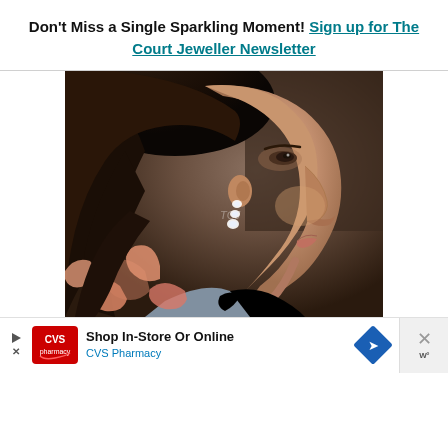Don't Miss a Single Sparkling Moment! Sign up for The Court Jeweller Newsletter
[Figure (photo): Close-up profile photo of a woman with dark hair pulled back, wearing diamond drop earrings, a gray silk blouse with floral pattern in pink/coral, smiling, with a TCJ watermark]
Shop In-Store Or Online CVS Pharmacy